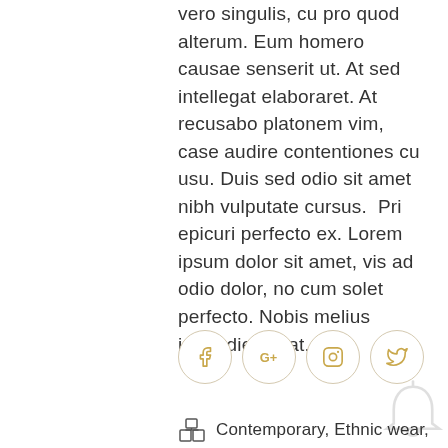vero singulis, cu pro quod alterum. Eum homero causae senserit ut. At sed intellegat elaboraret. At recusabo platonem vim, case audire contentiones cu usu. Duis sed odio sit amet nibh vulputate cursus.  Pri epicuri perfecto ex. Lorem ipsum dolor sit amet, vis ad odio dolor, no cum solet perfecto. Nobis melius imperdiet sit at.
[Figure (infographic): Four social media icon circles (Facebook, Google+, Instagram, Twitter) in gold color with light circular borders]
Contemporary, Ethnic wear,